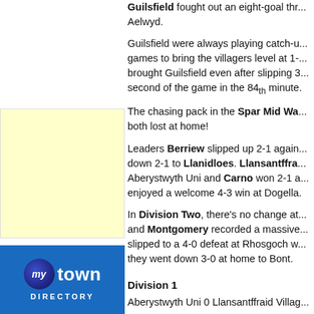[Figure (other): Yellow advertisement box placeholder]
[Figure (logo): My Town Directory logo — blue background with dark blue speech-bubble circle containing 'my' in italic white, 'town' in large white bold text, and 'DIRECTORY' in white spaced capitals below]
Guilsfield fought out an eight-goal th... Aelwyd.
Guilsfield were always playing catch-u... games to bring the villagers level at 1-... brought Guilsfield even after slipping 3... second of the game in the 84th minute.
The chasing pack in the Spar Mid Wa... both lost at home!
Leaders Berriew slipped up 2-1 again... down 2-1 to Llanidloes. Llansantffra... Aberystwyth Uni and Carno won 2-1 a... enjoyed a welcome 4-3 win at Dogella.
In Division Two, there's no change at... and Montgomery recorded a massive... slipped to a 4-0 defeat at Rhosgoch w... they went down 3-0 at home to Bont.
Division 1
Aberystwyth Uni 0 Llansantffraid Villag...
Berriew 1 Tywyn Bryncrug 2